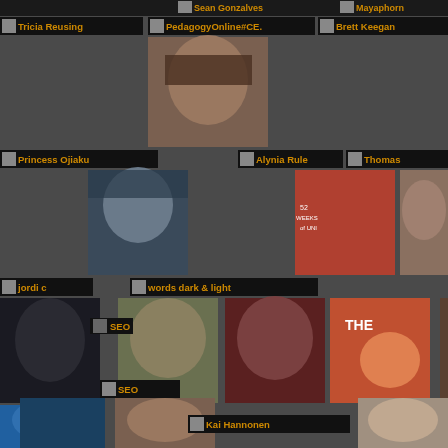[Figure (screenshot): Social media follower/following grid showing profile avatars and names. Dark background with orange text labels. Names include: Sean Gonzalves, Mayaphorn, Tricia Reusing, PedagogyOnline#CE., Brett Keegan, Princess Ojiaku, Alynia Rule, Thomas, jordi c, words dark & light, SEO, Kai Hannonen, Steve Swindells, Jeremiah Orr, Molly O'Hara, Jonas Grumby, Samei Huda, Kimberly A. Bettes, Casey. Profile photos and avatar images arranged in a grid pattern.]